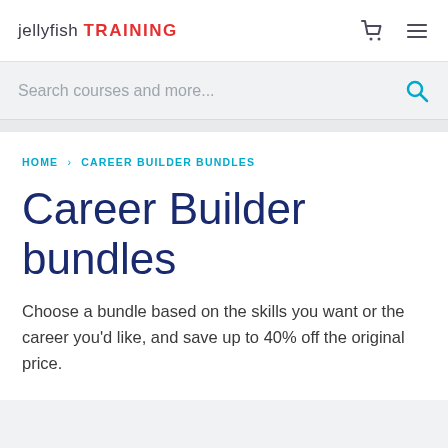jellyfish TRAINING
Search courses and more...
HOME > CAREER BUILDER BUNDLES
Career Builder bundles
Choose a bundle based on the skills you want or the career you'd like, and save up to 40% off the original price.